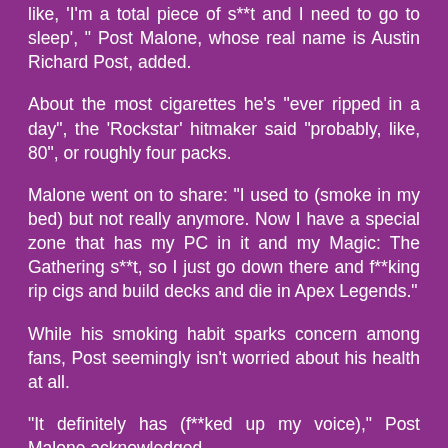like, 'I'm a total piece of s**t and I need to go to sleep', " Post Malone, whose real name is Austin Richard Post, added.
About the most cigarettes he's "ever ripped in a day", the 'Rockstar' hitmaker said "probably, like, 80", or roughly four packs.
Malone went on to share: "I used to (smoke in my bed) but not really anymore. Now I have a special zone that has my PC in it and my Magic: The Gathering s**t, so I just go down there and f**king rip cigs and build decks and die in Apex Legends."
While his smoking habit sparks concern among fans, Post seemingly isn't worried about his health at all.
"It definitely has (f**ked up my voice)," Post Malone acknowledged.
"But I mean, Johnny Cash smoked his whole life. He sounded